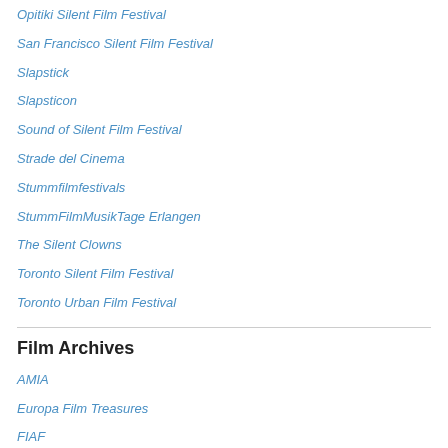Opitiki Silent Film Festival
San Francisco Silent Film Festival
Slapstick
Slapsticon
Sound of Silent Film Festival
Strade del Cinema
Stummfilmfestivals
StummFilmMusikTage Erlangen
The Silent Clowns
Toronto Silent Film Festival
Toronto Urban Film Festival
Film Archives
AMIA
Europa Film Treasures
FIAF
Film Archives UK
filmarchives.online